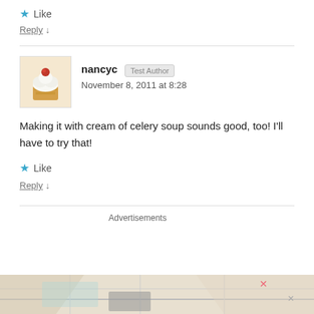★ Like
Reply ↓
nancyc  Test Author
November 8, 2011 at 8:28
Making it with cream of celery soup sounds good, too! I'll have to try that!
★ Like
Reply ↓
Advertisements